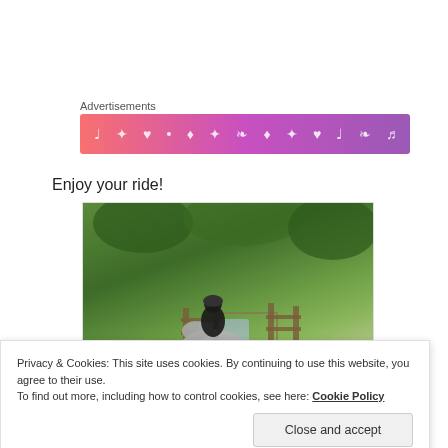Advertisements
[Figure (illustration): Colorful gradient banner ad with music and decorative icons in pink-to-purple gradient]
Enjoy your ride!
[Figure (photo): Person on horseback riding through a wooded trail with a stream and wooden fence, surrounded by green trees]
Privacy & Cookies: This site uses cookies. By continuing to use this website, you agree to their use.
To find out more, including how to control cookies, see here: Cookie Policy
Close and accept
reinforcement advice.